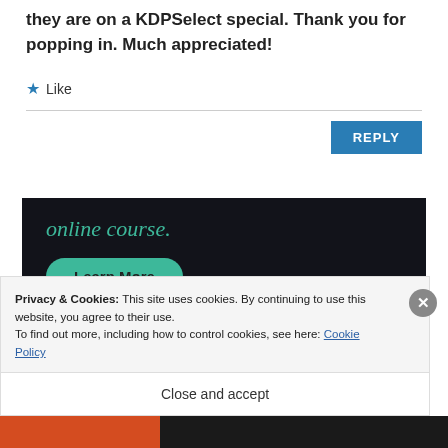they are on a KDPSelect special. Thank you for popping in. Much appreciated!
★ Like
REPLY
[Figure (screenshot): Dark advertisement banner with teal text 'online course.' and a teal 'Learn More' rounded button on a near-black background.]
Privacy & Cookies: This site uses cookies. By continuing to use this website, you agree to their use.
To find out more, including how to control cookies, see here: Cookie Policy
Close and accept